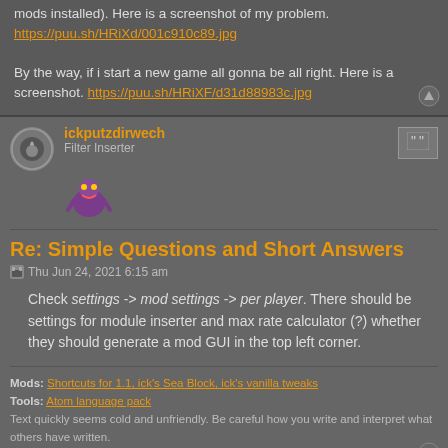mods installed). Here is a screenshot of my problem. https://puu.sh/HRiXd/001c910c89.jpg
By the way, if i start a new game all gonna be all right. Here is a screenshot. https://puu.sh/HRiXF/d31d88983c.jpg
ickputzdirwech
Filter Inserter
Re: Simple Questions and Short Answers
Thu Jun 24, 2021 6:15 am
Check settings -> mod settings -> per player. There should be settings for module inserter and max rate calculator (?) whether they should generate a mod GUI in the top left corner.
Mods: Shortcuts for 1.1, ick's Sea Block, ick's vanilla tweaks
Tools: Atom language pack
Text quickly seems cold and unfriendly. Be careful how you write and interpret what others have written.
- A reminder for me and all who read what I write